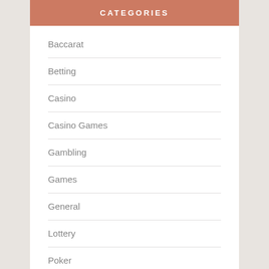CATEGORIES
Baccarat
Betting
Casino
Casino Games
Gambling
Games
General
Lottery
Poker
slot